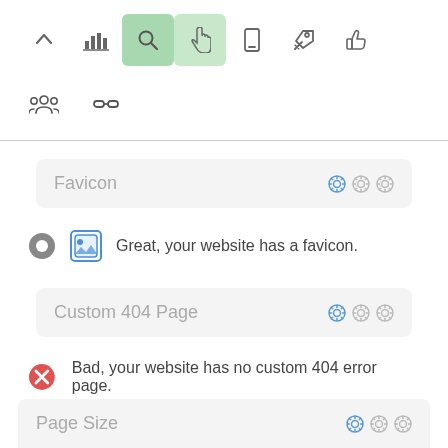[Figure (screenshot): Top navigation toolbar with icons: up arrow, bar chart, search (green background), cursor/hand (light green background), mobile phone, rocket/send, thumbs up]
[Figure (screenshot): Second toolbar row with icons: group of people, chain links]
Favicon
Great, your website has a favicon.
Custom 404 Page
Bad, your website has no custom 404 error page.
Page Size